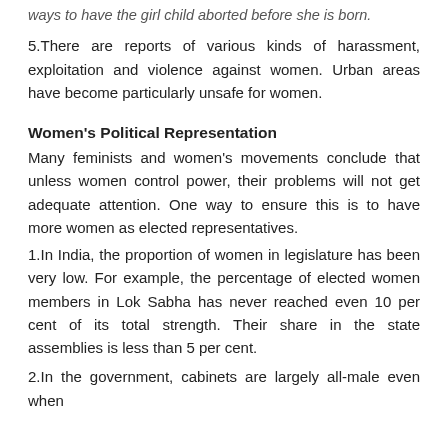ways to have the girl child aborted before she is born.
5.There are reports of various kinds of harassment, exploitation and violence against women. Urban areas have become particularly unsafe for women.
Women’s Political Representation
Many feminists and women’s movements conclude that unless women control power, their problems will not get adequate attention. One way to ensure this is to have more women as elected representatives.
1.In India, the proportion of women in legislature has been very low. For example, the percentage of elected women members in Lok Sabha has never reached even 10 per cent of its total strength. Their share in the state assemblies is less than 5 per cent.
2.In the government, cabinets are largely all-male even when